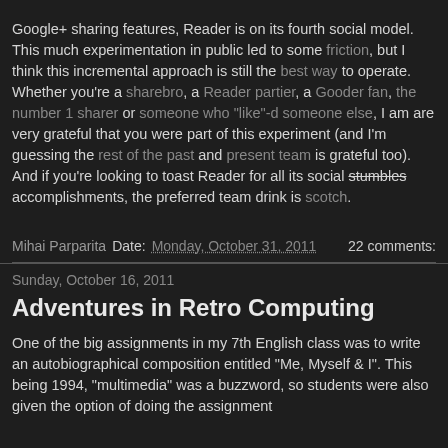Google+ sharing features, Reader is on its fourth social model. This much experimentation in public led to some friction, but I think this incremental approach is still the best way to operate. Whether you're a sharebro, a Reader partier, a Gooder fan, the number 1 sharer or someone who "like"-d someone else, I am are very grateful that you were part of this experiment (and I'm guessing the rest of the past and present team is grateful too). And if you're looking to toast Reader for all its social stumbles accomplishments, the preferred team drink is scotch.
Mihai Parparita  Date: Monday, October 31, 2011   22 comments:
Sunday, October 16, 2011
Adventures in Retro Computing
One of the big assignments in my 7th English class was to write an autobiographical composition entitled "Me, Myself & I". This being 1994, "multimedia" was a buzzword, so students were also given the option of doing the assignment